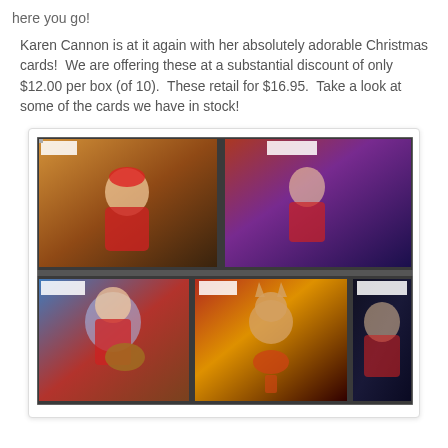here you go!
Karen Cannon is at it again with her absolutely adorable Christmas cards!  We are offering these at a substantial discount of only $12.00 per box (of 10).  These retail for $16.95.  Take a look at some of the cards we have in stock!
[Figure (photo): Photo of five Karen Cannon Christmas cards displayed in a store rack, showing Santa Claus and cats playing musical instruments in colorful holiday scenes.]